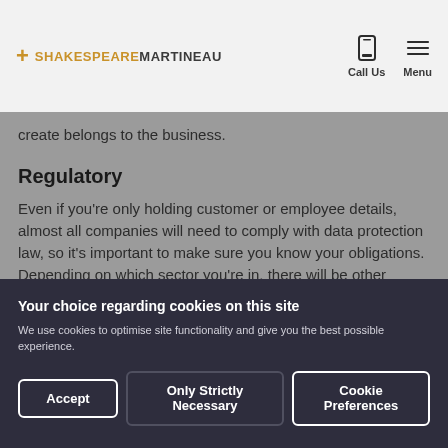SHAKESPEAREMARTINEAU — Call Us | Menu
create belongs to the business.
Regulatory
Even if you're only holding customer or employee details, almost all companies will need to comply with data protection law, so it's important to make sure you know your obligations. Depending on which sector you're in, there will be other regulations you need to be aware of
Your choice regarding cookies on this site
We use cookies to optimise site functionality and give you the best possible experience.